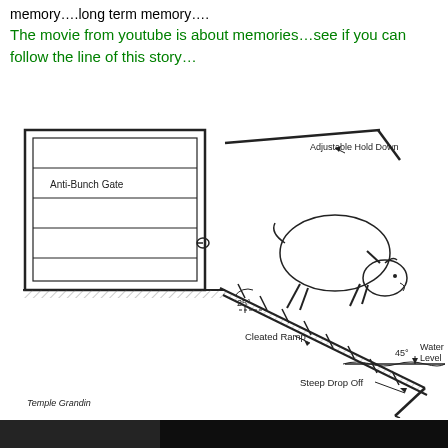memory….long term memory….
The movie from youtube is about memories…see if you can follow the line of this story…
[Figure (schematic): Engineering-style schematic diagram of a cattle dip facility showing an Anti-Bunch Gate (rectangular enclosure on left), a cow walking onto a Cleated Ramp at 25 degrees, an Adjustable Hold Down bar above, a Steep Drop Off into water, Water Level indicated at 45 degrees, and attribution 'Temple Grandin' at bottom left.]
[Figure (photo): Dark photograph strip at the very bottom of the page.]